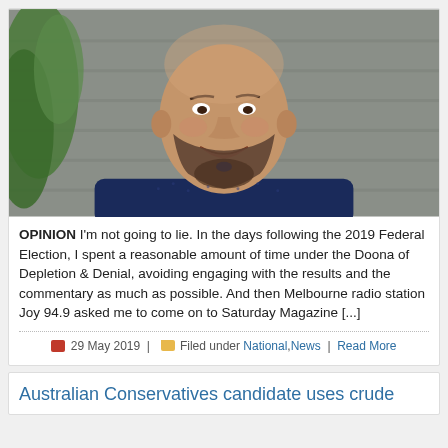[Figure (photo): Portrait photo of a bald man with a beard, smiling, wearing a dark navy blue patterned shirt, photographed outdoors against a grey wall with green foliage visible on the left.]
OPINION I'm not going to lie. In the days following the 2019 Federal Election, I spent a reasonable amount of time under the Doona of Depletion & Denial, avoiding engaging with the results and the commentary as much as possible. And then Melbourne radio station Joy 94.9 asked me to come on to Saturday Magazine [...]
29 May 2019 | Filed under National,News | Read More
Australian Conservatives candidate uses crude